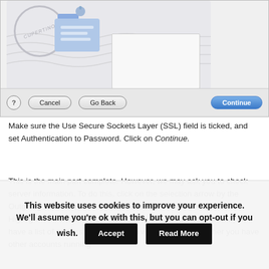[Figure (screenshot): Mac OS X Mail setup dialog screenshot showing Cupertino stamp graphic, white panel, and bottom navigation buttons: Cancel, Go Back, and a blue Continue button]
Make sure the Use Secure Sockets Layer (SSL) field is ticked, and set Authentication to Password. Click on Continue.
This is the main part complete. However, we may ask you to check server information. To do this, click on the selection arrow by the Outgoing Mail Server field, and choose Edit SMTP Server List. Highlight the domain that we look after for you (whether or not you have a list of servers to choose from will depend on whether you have other accounts running
This website uses cookies to improve your experience. We'll assume you're ok with this, but you can opt-out if you wish. Accept Read More